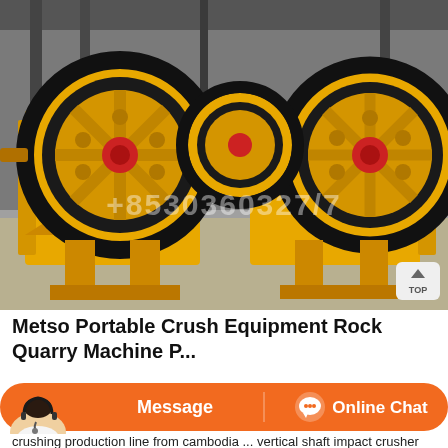[Figure (photo): Three yellow jaw crusher machines with large black flywheels, photographed in an industrial warehouse setting. Machines are painted yellow with red center hubs. A watermark phone number is visible in the lower portion of the image. A 'TOP' button is visible in the lower right corner.]
Metso Portable Crush Equipment Rock Quarry Machine P...
[Figure (screenshot): Orange chat bar with customer service agent photo on the left, 'Message' button in the center-left, and 'Online Chat' button with chat icon on the right.]
crushing production line from cambodia ... vertical shaft impact crusher